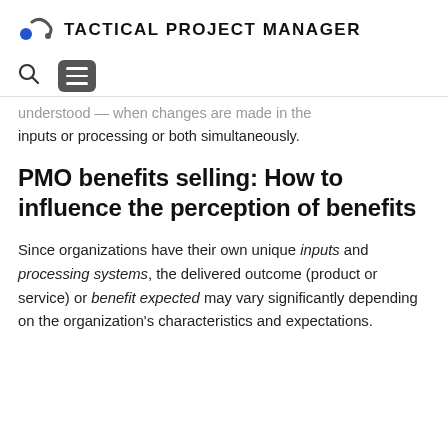TACTICAL PROJECT MANAGER
understood — when changes are made in the inputs or processing or both simultaneously.
PMO benefits selling: How to influence the perception of benefits
Since organizations have their own unique inputs and processing systems, the delivered outcome (product or service) or benefit expected may vary significantly depending on the organization's characteristics and expectations.